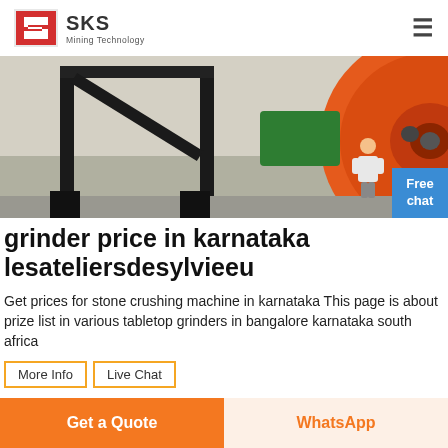SKS Mining Technology
[Figure (photo): Industrial grinding machine with large orange disk/wheel on black metal frame, photographed in a workshop or factory setting.]
grinder price in karnataka lesateliersdesylvieeu
Get prices for stone crushing machine in karnataka This page is about prize list in various tabletop grinders in bangalore karnataka south africa
More Info
Live Chat